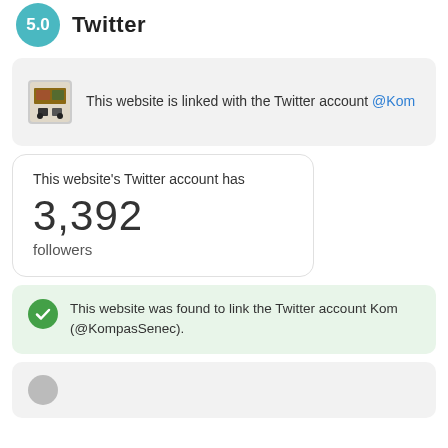5.0 Twitter
This website is linked with the Twitter account @Kom…
This website's Twitter account has 3,392 followers
This website was found to link the Twitter account Kom… (@KompasSenec).